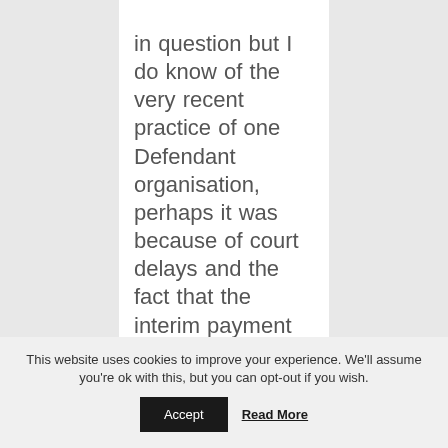in question but I do know of the very recent practice of one Defendant organisation, perhaps it was because of court delays and the fact that the interim payment request was routinely declined when
This website uses cookies to improve your experience. We'll assume you're ok with this, but you can opt-out if you wish.